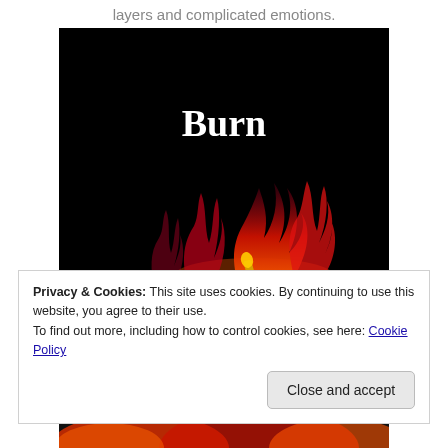layers and complicated emotions.
[Figure (photo): Book cover with black background, white serif text reading 'Burn', and stylized red and orange flame/fire imagery at the bottom]
Privacy & Cookies: This site uses cookies. By continuing to use this website, you agree to their use.
To find out more, including how to control cookies, see here: Cookie Policy
[Figure (photo): Bottom portion of a colorful book cover with red and orange fire/flame imagery]